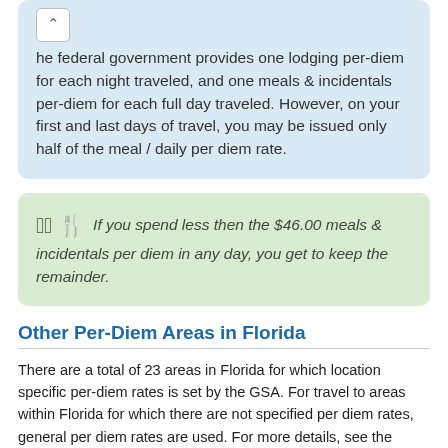he federal government provides one lodging per-diem for each night traveled, and one meals & incidentals per-diem for each full day traveled. However, on your first and last days of travel, you may be issued only half of the meal / daily per diem rate.
If you spend less then the $46.00 meals & incidentals per diem in any day, you get to keep the remainder.
Other Per-Diem Areas in Florida
There are a total of 23 areas in Florida for which location specific per-diem rates is set by the GSA. For travel to areas within Florida for which there are not specified per diem rates, general per diem rates are used. For more details, see the Florida per diem rates